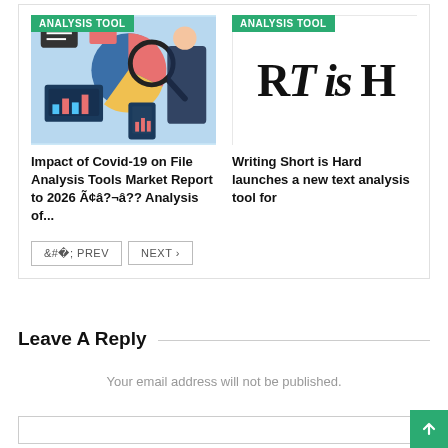[Figure (illustration): ANALYSIS TOOL badge in green with an illustration of a person holding a magnifying glass over charts and graphs, laptop with bar charts visible]
[Figure (illustration): ANALYSIS TOOL badge in green with a text logo showing 'RT is H' in large serif italic font on white background]
Impact of Covid-19 on File Analysis Tools Market Report to 2026 Ã¢â?¬â?? Analysis of...
Writing Short is Hard launches a new text analysis tool for
< PREV
NEXT >
Leave A Reply
Your email address will not be published.